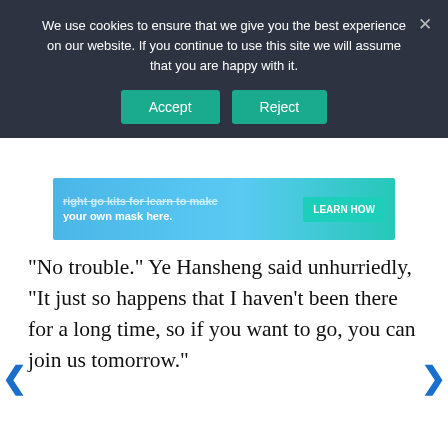We use cookies to ensure that we give you the best experience on our website. If you continue to use this site we will assume that you are happy with it.
[Figure (screenshot): Cookie consent banner with Accept and Reject buttons on dark background]
[Figure (infographic): Advertisement banner: right go kits for learn to make your own mask here. LEARN HOW button]
“No trouble.” Ye Hansheng said unhurriedly, “It just so happens that I haven’t been there for a long time, so if you want to go, you can join us tomorrow.”
Wen Run was instantly tempted, who didn’t want to touch a real gun. He only hesitated for a short while, and then his eyes shone brightly as he agreed.
[Figure (screenshot): Advertisement: Tailored ad management solutions for every publisher. FREESTA... LEARN MORE]
Th...ng a whole mountain, it covered an area of nearly six